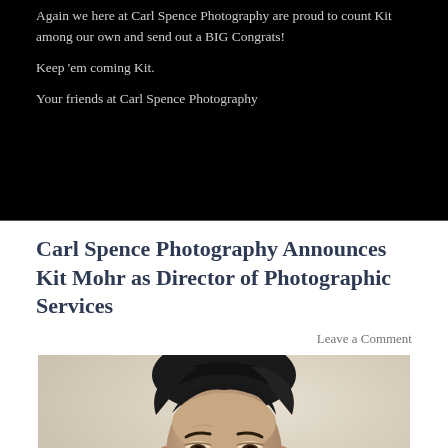Again we here at Carl Spence Photography are proud to count Kit among our own and send out a BIG Congrats!
Keep 'em coming Kit.
Your friends at Carl Spence Photography
Carl Spence Photography Announces Kit Mohr as Director of Photographic Services
Leave a Comment
[Figure (photo): Black and white portrait photograph of a man with styled hair looking slightly downward, shot in a classic portrait style]